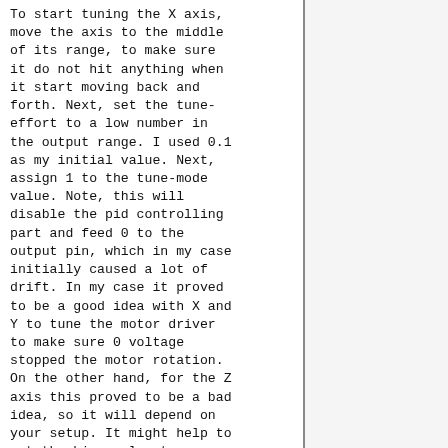To start tuning the X axis, move the axis to the middle of its range, to make sure it do not hit anything when it start moving back and forth. Next, set the tune-effort to a low number in the output range. I used 0.1 as my initial value. Next, assign 1 to the tune-mode value. Note, this will disable the pid controlling part and feed 0 to the output pin, which in my case initially caused a lot of drift. In my case it proved to be a good idea with X and Y to tune the motor driver to make sure 0 voltage stopped the motor rotation. On the other hand, for the Z axis this proved to be a bad idea, so it will depend on your setup. It might help to set the bias value to a output value that reduce or eliminate the axis drift. Finally, after setting tune-mode, set tune-start to 1 to activate the auto tuning. If